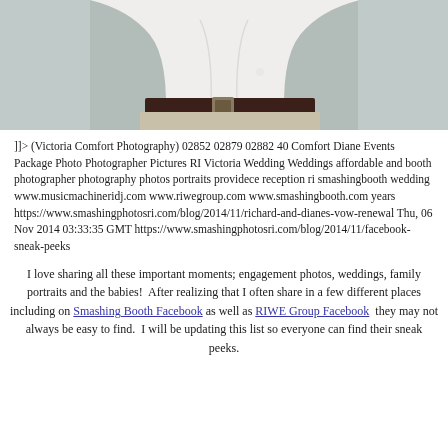[Figure (photo): Cropped photo showing the torso/midsection of a person wearing a white button-up shirt and khaki pants with a dark brown belt, against a grey/teal background.]
]]> (Victoria Comfort Photography) 02852 02879 02882 40 Comfort Diane Events Package Photo Photographer Pictures RI Victoria Wedding Weddings affordable and booth photographer photography photos portraits providece reception ri smashingbooth wedding www.musicmachineridj.com www.riwegroup.com www.smashingbooth.com years https://www.smashingphotosri.com/blog/2014/11/richard-and-dianes-vow-renewal Thu, 06 Nov 2014 03:33:35 GMT https://www.smashingphotosri.com/blog/2014/11/facebook-sneak-peeks
I love sharing all these important moments; engagement photos, weddings, family portraits and the babies!  After realizing that I often share in a few different places including on Smashing Booth Facebook as well as RIWE Group Facebook  they may not always be easy to find.  I will be updating this list so everyone can find their sneak peeks.